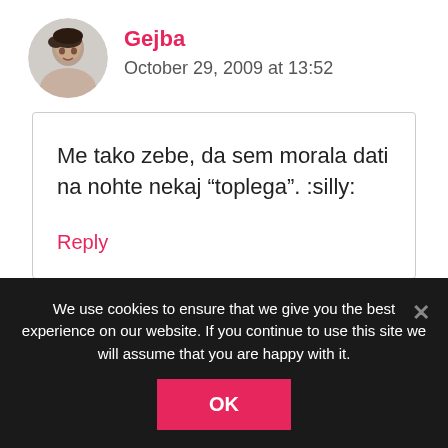Gejba
October 29, 2009 at 13:52
Me tako zebe, da sem morala dati na nohte nekaj “toplega". :silly:
Reply
We use cookies to ensure that we give you the best experience on our website. If you continue to use this site we will assume that you are happy with it.
OK